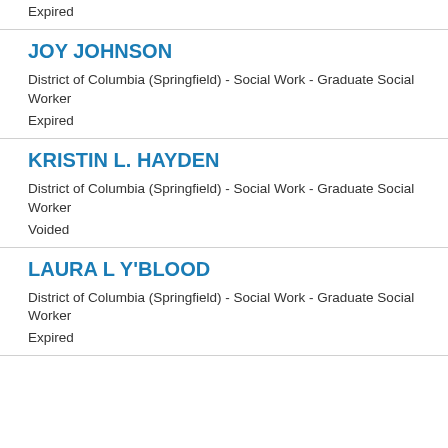Expired
JOY JOHNSON
District of Columbia (Springfield) - Social Work - Graduate Social Worker
Expired
KRISTIN L. HAYDEN
District of Columbia (Springfield) - Social Work - Graduate Social Worker
Voided
LAURA L Y'BLOOD
District of Columbia (Springfield) - Social Work - Graduate Social Worker
Expired
...